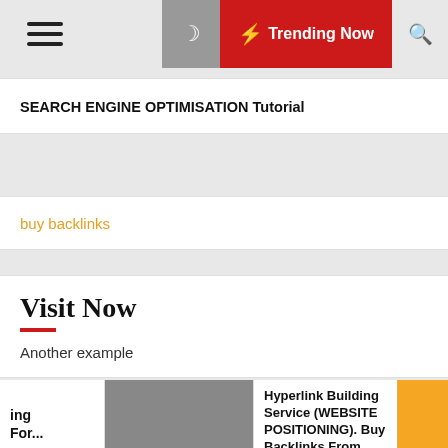Trending Now
SEARCH ENGINE OPTIMISATION Tutorial
buy backlinks
Visit Now
Another example
[Figure (logo): Intellifluence Trusted Blogger badge - circular blue badge with yellow ribbon]
ing For...
Hyperlink Building Service (WEBSITE POSITIONING). Buy Backlinks From...